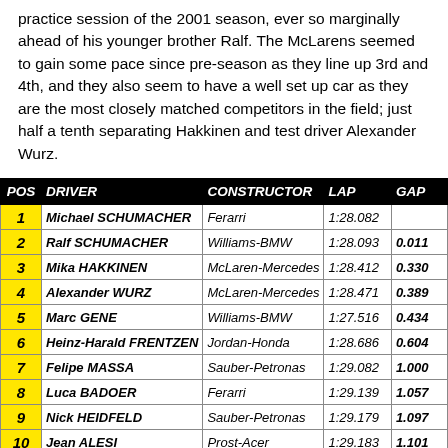practice session of the 2001 season, ever so marginally ahead of his younger brother Ralf. The McLarens seemed to gain some pace since pre-season as they line up 3rd and 4th, and they also seem to have a well set up car as they are the most closely matched competitors in the field; just half a tenth separating Hakkinen and test driver Alexander Wurz.
| POS | DRIVER | CONSTRUCTOR | LAP | GAP |
| --- | --- | --- | --- | --- |
| 1 | Michael SCHUMACHER | Ferarri | 1:28.082 |  |
| 2 | Ralf SCHUMACHER | Williams-BMW | 1:28.093 | 0.011 |
| 3 | Mika HAKKINEN | McLaren-Mercedes | 1:28.412 | 0.330 |
| 4 | Alexander WURZ | McLaren-Mercedes | 1:28.471 | 0.389 |
| 5 | Marc GENE | Williams-BMW | 1:27.516 | 0.434 |
| 6 | Heinz-Harald FRENTZEN | Jordan-Honda | 1:28.686 | 0.604 |
| 7 | Felipe MASSA | Sauber-Petronas | 1:29.082 | 1.000 |
| 8 | Luca BADOER | Ferarri | 1:29.139 | 1.057 |
| 9 | Nick HEIDFELD | Sauber-Petronas | 1:29.179 | 1.097 |
| 10 | Jean ALESI | Prost-Acer | 1:29.183 | 1.101 |
| 11 | Ricardo ZONTA | Jordan-Honda | 1:29.304 | 1.222 |
| 12 | Anthony DAVIDSON | BAR-Honda | 1:29.348 | 1.266 |
| 13 | Olivier PANIS | BAR-Honda | 1:29.532 | 1.450 |
| 14 | Eddie IRVINE | Jaguar-Cosworth | 1:29.701 | 1.619 |